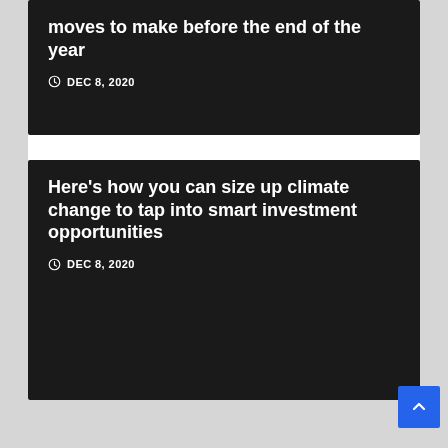moves to make before the end of the year
DEC 8, 2020
Here's how you can size up climate change to tap into smart investment opportunities
DEC 8, 2020